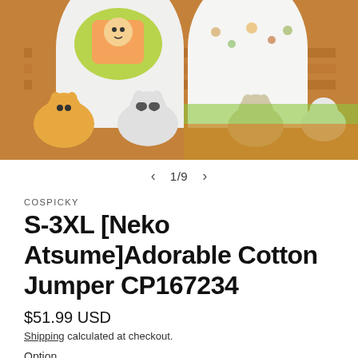[Figure (photo): Product image showing anime-themed cotton jumpers/sweatshirts with Neko Atsume cat characters on them, displayed against a colorful cartoon background with cats]
1/9
COSPICKY
S-3XL [Neko Atsume]Adorable Cotton Jumper CP167234
$51.99 USD
Shipping calculated at checkout.
Option
#1
#2
#3
#4
#5